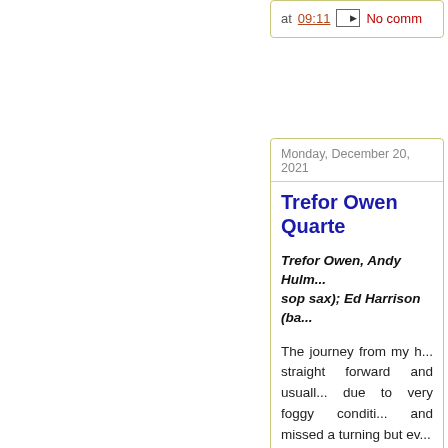at 09:11  [email icon]  No comm
Monday, December 20, 2021
Trefor Owen Quarte
Trefor Owen, Andy Hulm... sop sax); Ed Harrison (ba...
The journey from my h... straight forward and usuall... due to very foggy conditi... and missed a turning but ev...
This no doubt deterred son... as the turnout was well do... arrived early and the gig st...
Read more »